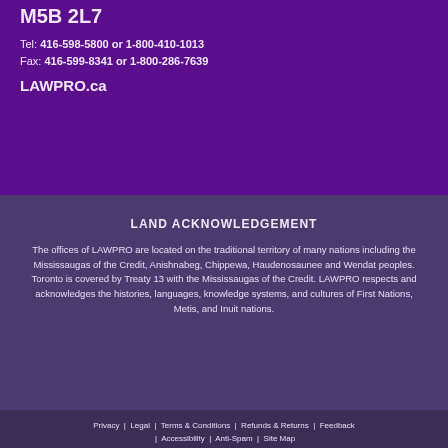M5B 2L7
Tel: 416-598-5800 or 1-800-410-1013
Fax: 416-599-8341 or 1-800-286-7639
LAWPRO.ca
LAND ACKNOWLEDGEMENT
The offices of LAWPRO are located on the traditional territory of many nations including the Mississaugas of the Credit, Anishnabeg, Chippewa, Haudenosaunee and Wendat peoples. Toronto is covered by Treaty 13 with the Mississaugas of the Credit. LAWPRO respects and acknowledges the histories, languages, knowledge systems, and cultures of First Nations, Metis, and Inuit nations.
Privacy | Legal | Terms & Conditions | Refunds & Returns | Feedback | Accessibility | Anti-Spam | Site Map